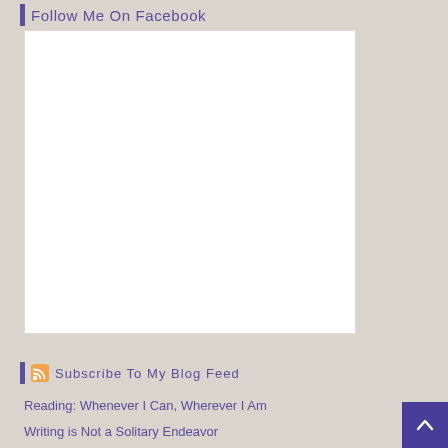Follow Me On Facebook
[Figure (other): White rectangular Facebook widget placeholder box]
Subscribe To My Blog Feed
Reading: Whenever I Can, Wherever I Am
Writing is Not a Solitary Endeavor